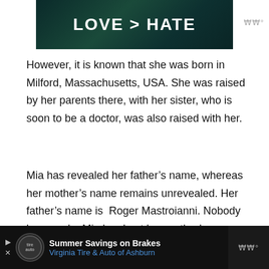[Figure (photo): Dark teal/green banner image with bold white text reading 'LOVE > HATE']
However, it is known that she was born in Milford, Massachusetts, USA. She was raised by her parents there, with her sister, who is soon to be a doctor, was also raised with her.
Mia has revealed her father’s name, whereas her mother’s name remains unrevealed. Her father’s name is  Roger Mastroianni. Nobody knows why Mia has kept her mother’s name a secret.
Summer Savings on Brakes Virginia Tire & Auto of Ashburn